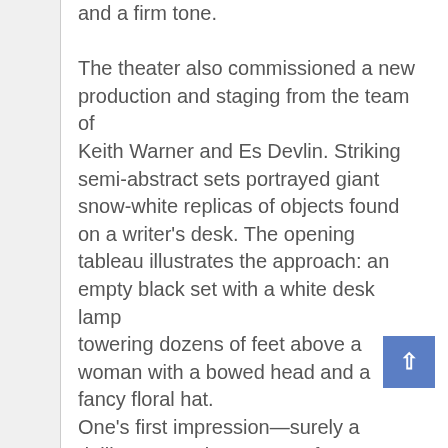and a firm tone.

The theater also commissioned a new production and staging from the team of Keith Warner and Es Devlin. Striking semi-abstract sets portrayed giant snow-white replicas of objects found on a writer's desk. The opening tableau illustrates the approach: an empty black set with a white desk lamp towering dozens of feet above a woman with a bowed head and a fancy floral hat. One's first impression—surely a deliberate analogy—was of an insect under a microscope, but when she lifted her head, she was instantly transformed into a middle-aged woman. Over the course of the evening, more